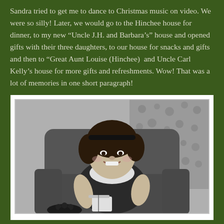Sandra tried to get me to dance to Christmas music on video. We were so silly! Later, we would go to the Hinchee house for dinner, to my new “Uncle J.H. and Barbara’s” house and opened gifts with their three daughters, to our house for snacks and gifts and then to “Great Aunt Louise (Hinchee)  and Uncle Carl Kelly’s house for more gifts and refreshments. Wow! That was a lot of memories in one short paragraph!
[Figure (photo): Black-and-white vintage photograph of a young girl sitting in an armchair, smiling at the camera. She is wearing a dark sleeveless dress over a white short-sleeve shirt. There are gifts/items on her lap and around her. Floral wallpaper is visible in the background.]